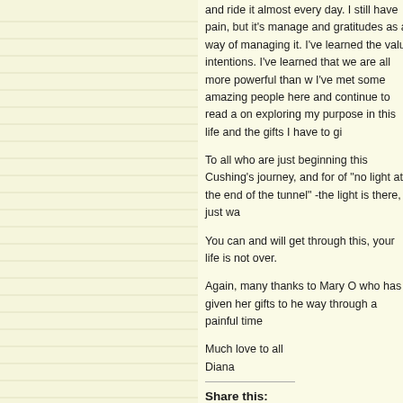and ride it almost every day. I still have pain, but it's manage and gratitudes as a way of managing it. I've learned the valu intentions. I've learned that we are all more powerful than w I've met some amazing people here and continue to read a on exploring my purpose in this life and the gifts I have to gi
To all who are just beginning this Cushing's journey, and for of "no light at the end of the tunnel" -the light is there, just w
You can and will get through this, your life is not over.
Again, many thanks to Mary O who has given her gifts to he way through a painful time
Much love to all
Diana
Share this:
Like this: